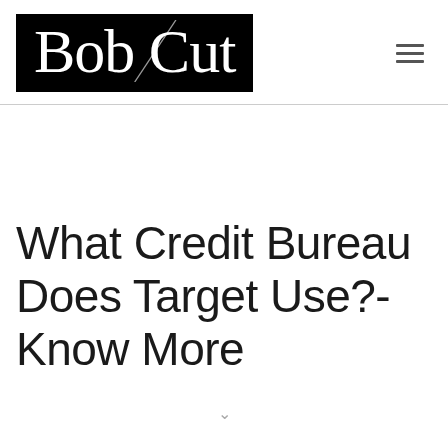Bob Cut
What Credit Bureau Does Target Use?- Know More